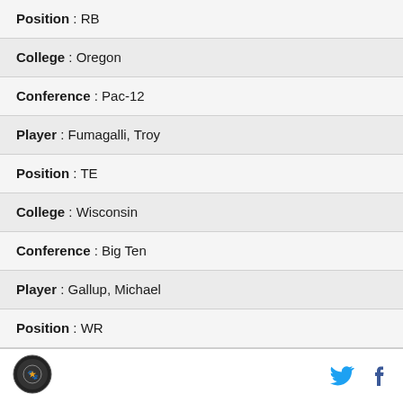Position : RB
College : Oregon
Conference : Pac-12
Player : Fumagalli, Troy
Position : TE
College : Wisconsin
Conference : Big Ten
Player : Gallup, Michael
Position : WR
College : Colorado State
Conference : Mountain West